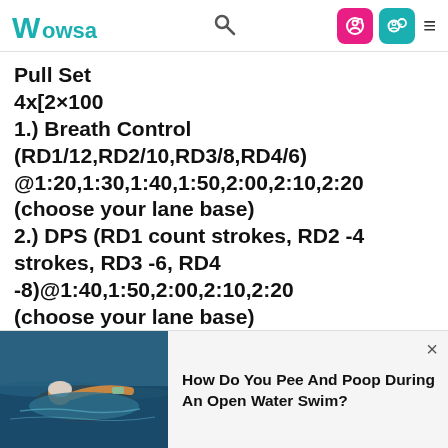WOWSA
Pull Set
4x[2×100
1.) Breath Control (RD1/12,RD2/10,RD3/8,RD4/6) @1:20,1:30,1:40,1:50,2:00,2:10,2:20 (choose your lane base)
2.) DPS (RD1 count strokes, RD2 -4 strokes, RD3 -6, RD4 -8)@1:40,1:50,2:00,2:10,2:20 (choose your lane base)
[Figure (photo): Open water swimmer in water]
How Do You Pee And Poop During An Open Water Swim?